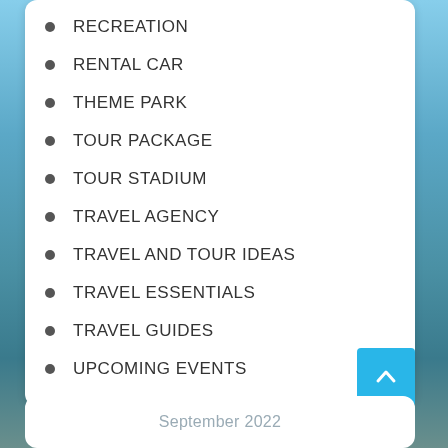RECREATION
RENTAL CAR
THEME PARK
TOUR PACKAGE
TOUR STADIUM
TRAVEL AGENCY
TRAVEL AND TOUR IDEAS
TRAVEL ESSENTIALS
TRAVEL GUIDES
UPCOMING EVENTS
September 2022